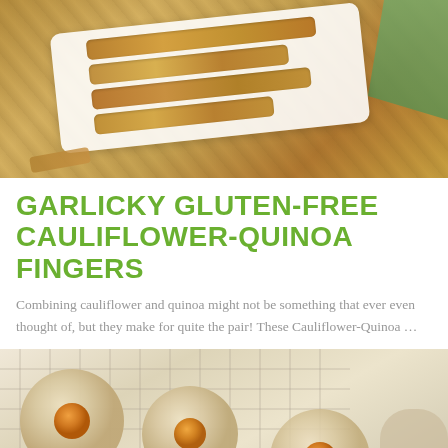[Figure (photo): Overhead photo of breaded cauliflower-quinoa fingers arranged on a white rectangular plate with a green cloth napkin, on a baking sheet]
GARLICKY GLUTEN-FREE CAULIFLOWER-QUINOA FINGERS
Combining cauliflower and quinoa might not be something that ever even thought of, but they make for quite the pair! These Cauliflower-Quinoa …
[Figure (photo): Overhead photo of thumbprint cookies with orange jam filling on a wire cooling rack with a small jar of jam]